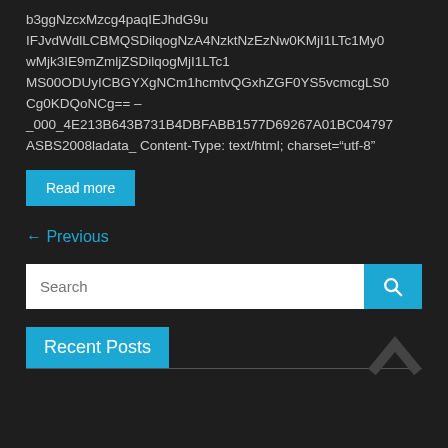b3ggNzcxMzcg4paqIEJhdG9u IFJvdWdlLCBMQSDilqogNzA4NzktNzEzNw0KMjI1LTc1My0wMjk3IE9mZmljZSDilqogMjI1LTc1MS00ODUyICBGYXgNCm1hcmtvQGxhZGF0YS5vcmcgLS0wMDMgCg0KDQoNCg== – _000_4E213B643B731B4DBFABB1577D69267A01BC04797ASBS2008ladata_ Content-Type: text/html; charset="utf-8"
Read more
← Previous
Search
Recent Posts